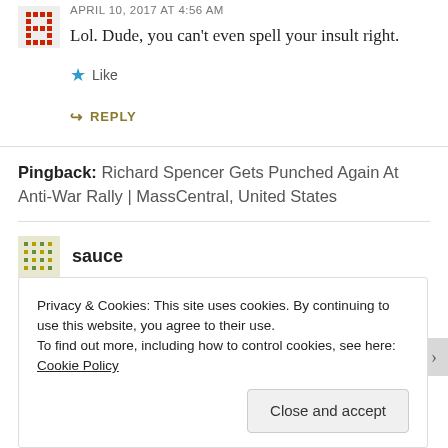APRIL 10, 2017 AT 4:56 AM
Lol. Dude, you can’t even spell your insult right.
★ Like
↪ REPLY
Pingback: Richard Spencer Gets Punched Again At Anti-War Rally | MassCentral, United States
sauce
Privacy & Cookies: This site uses cookies. By continuing to use this website, you agree to their use.
To find out more, including how to control cookies, see here: Cookie Policy
Close and accept